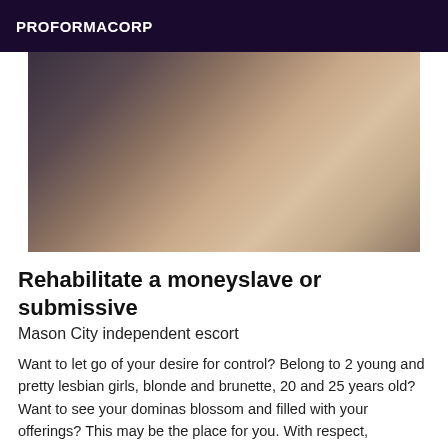PROFORMACORP
[Figure (photo): A close-up photo of two people, one with blonde hair and one with dark hair, in an intimate pose against a light beige background.]
Rehabilitate a moneyslave or submissive
Mason City independent escort
Want to let go of your desire for control? Belong to 2 young and pretty lesbian girls, blonde and brunette, 20 and 25 years old? Want to see your dominas blossom and filled with your offerings? This may be the place for you. With respect, politeness and discretion, become our minion, our moneyslave, our dog and we will be your obsession. We will become the center of your world. We will set up a fusional relationship, you will be our toy, we